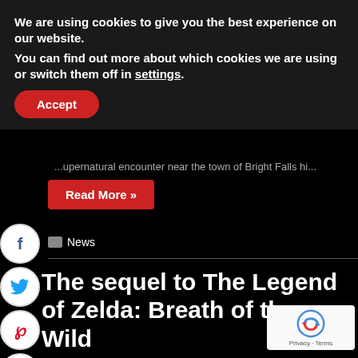We are using cookies to give you the best experience on our website.
You can find out more about which cookies we are using or switch them off in settings.
Accept
[Figure (infographic): Social media share buttons: Facebook (f), Twitter bird, Pinterest (p), Tumblr (t) as circular icons on left sidebar]
supernatural encounter near the town of Bright Falls hi...
Read More »
News
The sequel to The Legend of Zelda: Breath of the Wild
June 26, 2022   AcemanWolf
The internet is bursting with excitement over both new